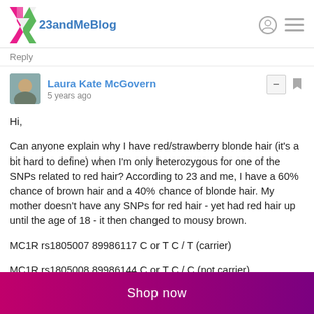23andMeBlog
Reply
Laura Kate McGovern
5 years ago
Hi,

Can anyone explain why I have red/strawberry blonde hair (it's a bit hard to define) when I'm only heterozygous for one of the SNPs related to red hair? According to 23 and me, I have a 60% chance of brown hair and a 40% chance of blonde hair. My mother doesn't have any SNPs for red hair - yet had red hair up until the age of 18 - it then changed to mousy brown.

MC1R rs1805007 89986117 C or T C / T (carrier)

MC1R rs1805008 89986144 C or T C / C (not carrier)
Shop now